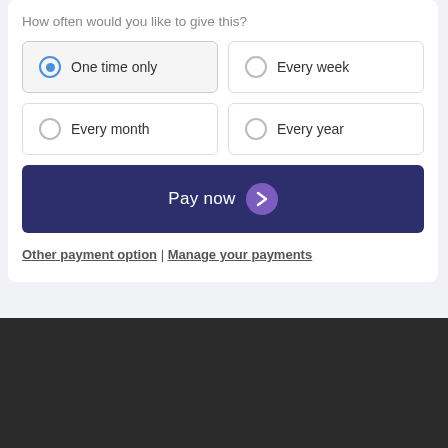How often would you like to give this?
One time only (selected)
Every week
Every month
Every year
Pay now
Other payment option | Manage your payments
ACLS CERTIFICATION INSTITUTE
ACLS Certification Institute ACLScertification.com